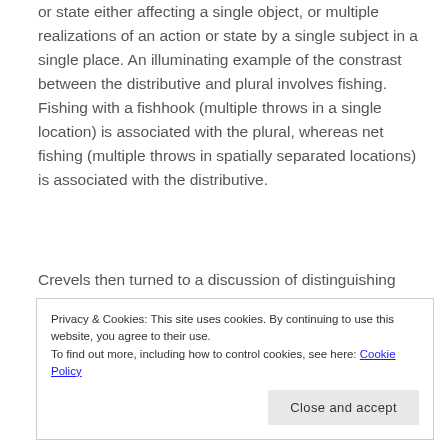or state either affecting a single object, or multiple realizations of an action or state by a single subject in a single place. An illuminating example of the constrast between the distributive and plural involves fishing. Fishing with a fishhook (multiple throws in a single location) is associated with the plural, whereas net fishing (multiple throws in spatially separated locations) is associated with the distributive.
Crevels then turned to a discussion of distinguishing event and participant number with regard to the number-related resources she had just finished
Privacy & Cookies: This site uses cookies. By continuing to use this website, you agree to their use.
To find out more, including how to control cookies, see here: Cookie Policy
and convey participant number via implicature.